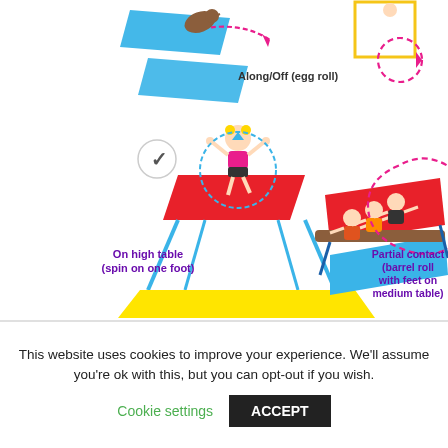[Figure (illustration): Gymnastics/physical education diagram showing children performing movements on gym equipment. Top section shows blue mats with an arrow labeled 'Along/Off (egg roll)' and a figure on apparatus. Middle-lower section shows a child spinning on a high red table (trampette) with yellow mat below labeled 'On high table (spin on one foot)', and a group of children doing a barrel roll on a medium table labeled 'Partial contact (barrel roll with feet on medium table)'. Pink dashed arrows indicate movement paths. A small checkmark/v icon is visible on the left.]
Along/Off (egg roll)
On high table (spin on one foot)
Partial contact (barrel roll with feet on medium table)
This website uses cookies to improve your experience. We'll assume you're ok with this, but you can opt-out if you wish.
Cookie settings  ACCEPT